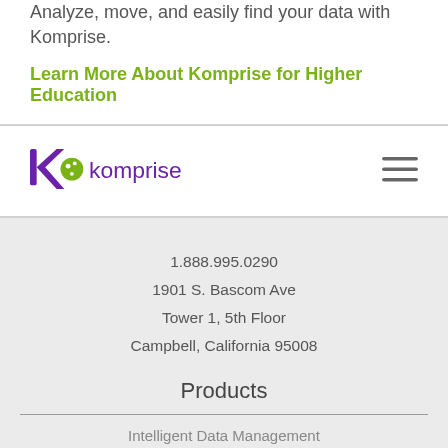Analyze, move, and easily find your data with Komprise.
Learn More About Komprise for Higher Education
[Figure (logo): Komprise logo with hamburger menu navigation bar]
1.888.995.0290
1901 S. Bascom Ave
Tower 1, 5th Floor
Campbell, California 95008
Products
Intelligent Data Management